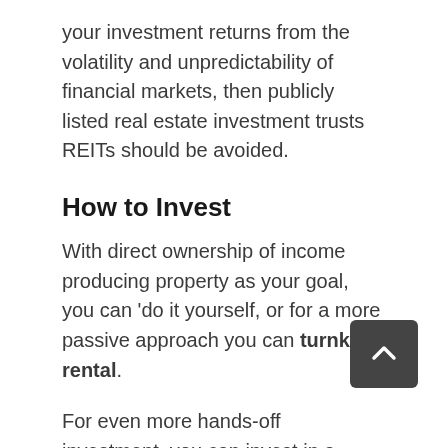your investment returns from the volatility and unpredictability of financial markets, then publicly listed real estate investment trusts REITs should be avoided.
How to Invest
With direct ownership of income producing property as your goal, you can ‘do it yourself, or for a more passive approach you can turnkey rental.
For even more hands-off investment, you can invest in a syndicate as a limited partner, or try out real estate crowdfunding through an online platform.
All of these investment options can deliver